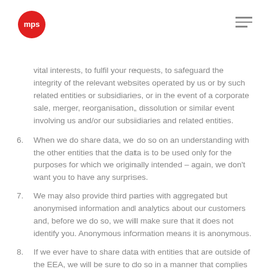mps logo and navigation
vital interests, to fulfil your requests, to safeguard the integrity of the relevant websites operated by us or by such related entities or subsidiaries, or in the event of a corporate sale, merger, reorganisation, dissolution or similar event involving us and/or our subsidiaries and related entities.
6. When we do share data, we do so on an understanding with the other entities that the data is to be used only for the purposes for which we originally intended – again, we don't want you to have any surprises.
7. We may also provide third parties with aggregated but anonymised information and analytics about our customers and, before we do so, we will make sure that it does not identify you. Anonymous information means it is anonymous.
8. If we ever have to share data with entities that are outside of the EEA, we will be sure to do so in a manner that complies with the requirements established by the GDPR.